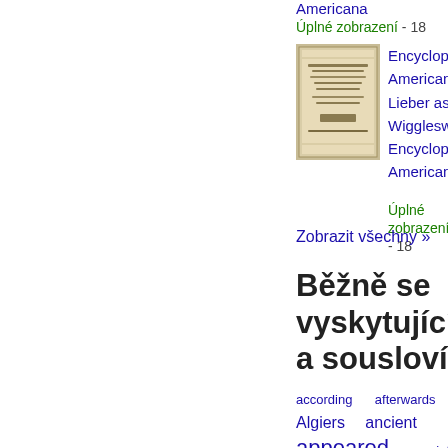Americana
Úplné zobrazení - 18
[Figure (photo): Thumbnail image of an old book titled Encyclopaedia Americana]
Encyclopædia Americana, ed. by F. Lieber assisted by E. Wigglesworth (and T. Encyclopaedia Americana
Úplné zobrazení - 18
Zobrazit všechny »
Běžně se vyskytující výrazy a sousloví
according
afterwards
Algiers
ancient
appeared
appointed
army
became
become